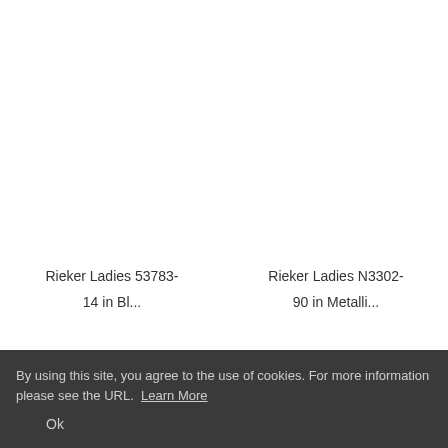Rieker Ladies 53783-14 in Bl...
Rieker Ladies N3302-90 in Metalli...
By using this site, you agree to the use of cookies. For more information please see the URL. Learn More
Ok